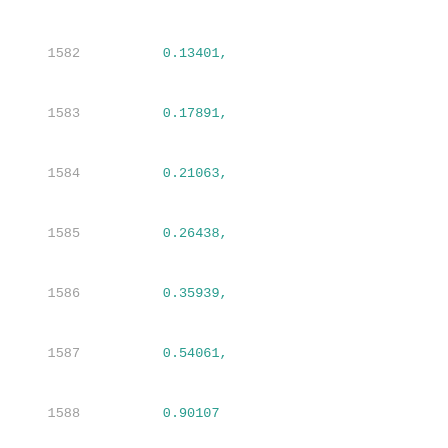1582    0.13401,
1583    0.17891,
1584    0.21063,
1585    0.26438,
1586    0.35939,
1587    0.54061,
1588    0.90107
1589  ],
1590  [
1591    0.1375,
1592    0.1824,
1593    0.2141,
1594    0.26785,
1595    0.36286,
1596    0.54409,
1597    0.90458
1598  ],
1599  [
1600    0.14295,
1601    0.18781,
1602    0.2195,